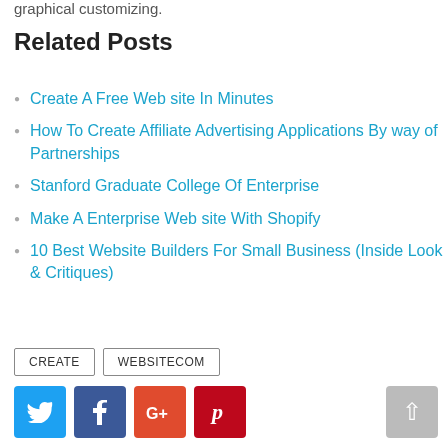graphical customizing.
Related Posts
Create A Free Web site In Minutes
How To Create Affiliate Advertising Applications By way of Partnerships
Stanford Graduate College Of Enterprise
Make A Enterprise Web site With Shopify
10 Best Website Builders For Small Business (Inside Look & Critiques)
CREATE   WEBSITECOM
[Figure (other): Social sharing buttons: Twitter (blue), Facebook (dark blue), Google+ (orange-red), Pinterest (red), and a back-to-top arrow button (gray)]